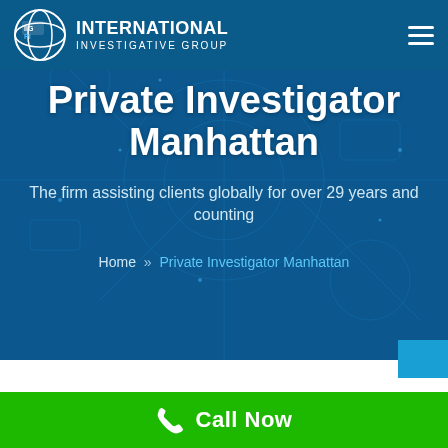IIG PI INTERNATIONAL INVESTIGATIVE GROUP
Private Investigator Manhattan
The firm assisting clients globally for over 29 years and counting
Home » Private Investigator Manhattan
28 May 2021
Call Now